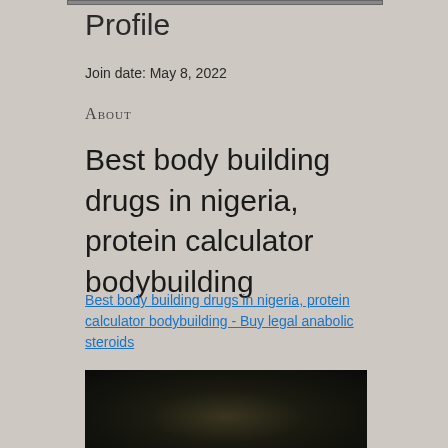Profile
Join date: May 8, 2022
About
Best body building drugs in nigeria, protein calculator bodybuilding
Best body building drugs in nigeria, protein calculator bodybuilding - Buy legal anabolic steroids
[Figure (photo): Dark background photo, partially visible at bottom of page]